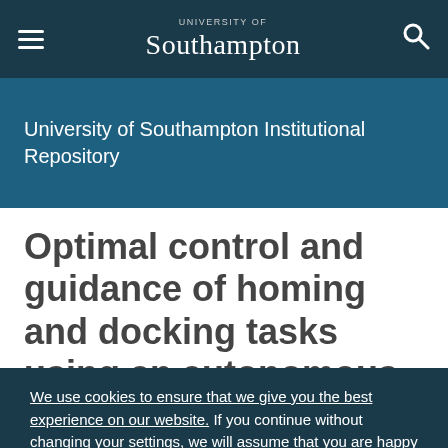University of Southampton — navigation bar with hamburger menu, logo, and search icon
University of Southampton Institutional Repository
Optimal control and guidance of homing and docking tasks using an autonomous underwater vehicle
We use cookies to ensure that we give you the best experience on our website. If you continue without changing your settings, we will assume that you are happy to receive